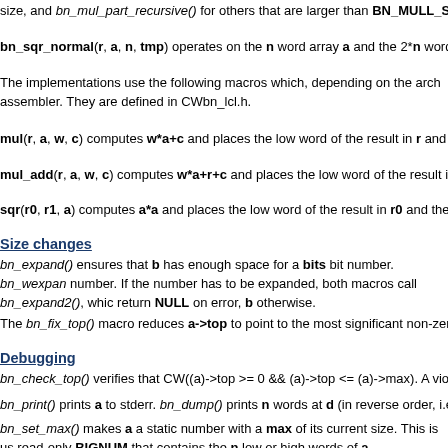size, and bn_mul_part_recursive() for others that are larger than BN_MULL_SIZ
bn_sqr_normal(r, a, n, tmp) operates on the n word array a and the 2*n word arr
The implementations use the following macros which, depending on the arch assembler. They are defined in CWbn_lcl.h.
mul(r, a, w, c) computes w*a+c and places the low word of the result in r and the
mul_add(r, a, w, c) computes w*a+r+c and places the low word of the result in r
sqr(r0, r1, a) computes a*a and places the low word of the result in r0 and the hig
Size changes
bn_expand() ensures that b has enough space for a bits bit number. bn_wexpan number. If the number has to be expanded, both macros call bn_expand2(), whic return NULL on error, b otherwise.
The bn_fix_top() macro reduces a->top to point to the most significant non-zero w
Debugging
bn_check_top() verifies that CW((a)->top >= 0 && (a)->top <= (a)->max). A violati
bn_print() prints a to stderr. bn_dump() prints n words at d (in reverse order, i.e. n
bn_set_max() makes a a static number with a max of its current size. This is us read-only BIGNUM that contains the n low or high words of a.